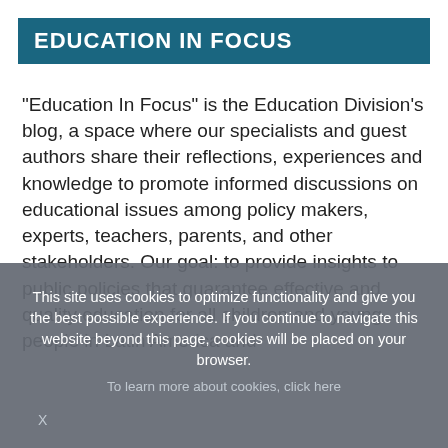EDUCATION IN FOCUS
"Education In Focus" is the Education Division's blog, a space where our specialists and guest authors share their reflections, experiences and knowledge to promote informed discussions on educational issues among policy makers, experts, teachers, parents, and other stakeholders. Our goal: to provide insights to public policies that guarantee effective and quality education for all children and young people in Latin America and
This site uses cookies to optimize functionality and give you the best possible experience. If you continue to navigate this website beyond this page, cookies will be placed on your browser.
To learn more about cookies, click here
X